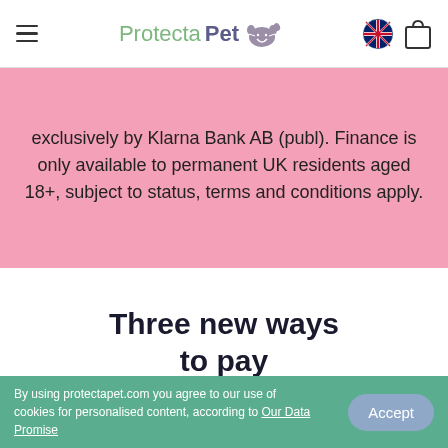ProtectaPet
exclusively by Klarna Bank AB (publ). Finance is only available to permanent UK residents aged 18+, subject to status, terms and conditions apply.
Three new ways to pay
Get a Quote
By using protectapet.com you agree to our use of cookies for personalised content, according to Our Data Promise